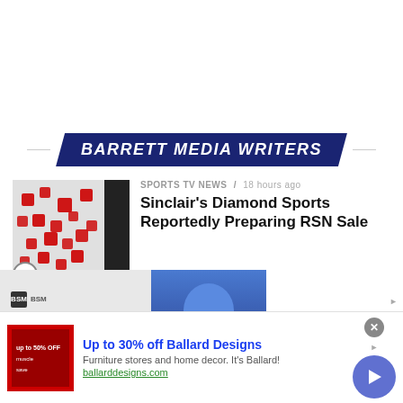[Figure (logo): Barrett Media Writers banner with dark blue parallelogram shape and white bold italic text]
SPORTS TV NEWS / 18 hours ago
Sinclair's Diamond Sports Reportedly Preparing RSN Sale
[Figure (photo): Map thumbnail with red icons]
NEWS / 1 day ago
e Show Departs SiriusXM, orts Radio
[Figure (photo): The Jason Barrett Podcast overlay with Paul Finebaum Knows The Power image]
[Figure (infographic): Advertisement: Up to 30% off Ballard Designs - Furniture stores and home decor. ballarddesigns.com]